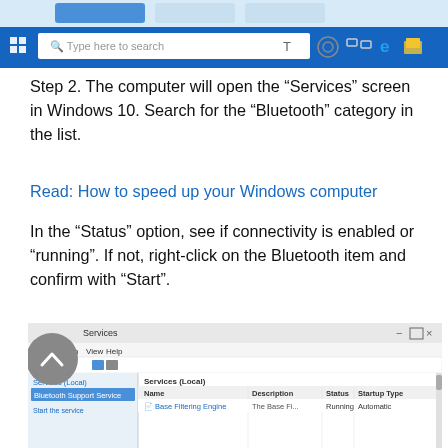[Figure (screenshot): Windows 10 taskbar showing search bar with 'Type here to search' text and system icons including Cortana, Task View, Edge, and File Explorer]
Step 2. The computer will open the “Services” screen in Windows 10. Search for the “Bluetooth” category in the list.
Read: How to speed up your Windows computer
In the “Status” option, see if connectivity is enabled or “running”. If not, right-click on the Bluetooth item and confirm with “Start”.
[Figure (screenshot): Windows Services window showing Bluetooth Support Service selected in the left panel, with a table listing services including Base Filtering Engine with status Running and Startup Type Automatic]